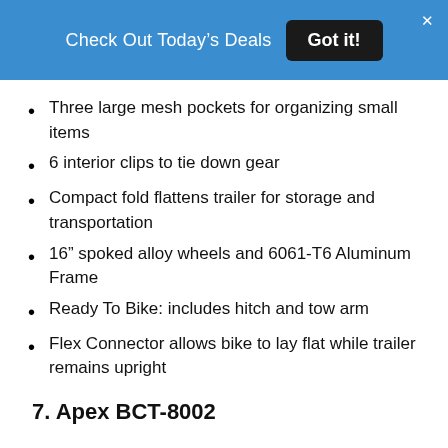Check Out Today's Deals  Got it!
Three large mesh pockets for organizing small items
6 interior clips to tie down gear
Compact fold flattens trailer for storage and transportation
16” spoked alloy wheels and 6061-T6 Aluminum Frame
Ready To Bike: includes hitch and tow arm
Flex Connector allows bike to lay flat while trailer remains upright
7. Apex BCT-8002